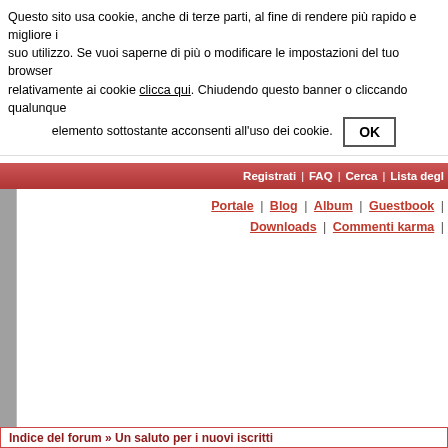Questo sito usa cookie, anche di terze parti, al fine di rendere più rapido e migliore il suo utilizzo. Se vuoi saperne di più o modificare le impostazioni del tuo browser relativamente ai cookie clicca qui. Chiudendo questo banner o cliccando qualunque elemento sottostante acconsenti all'uso dei cookie.  OK
Registrati | FAQ | Cerca | Lista degli...
Portale | Blog | Album | Guestbook | Downloads | Commenti karma |
Indice del forum » Un saluto per i nuovi iscritti